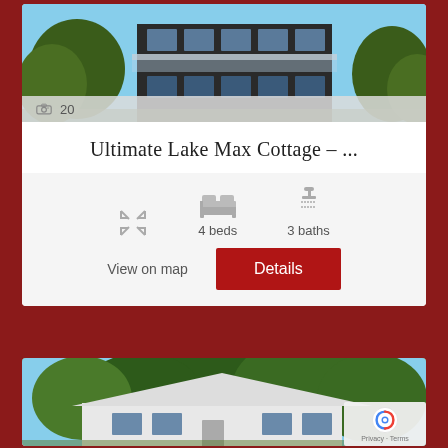[Figure (photo): Photo of a modern multi-story cottage with glass railings and balcony, surrounded by trees, blue sky background]
📷 20
Ultimate Lake Max Cottage – ...
4 beds
3 baths
View on map
Details
[Figure (photo): Photo of a white house with gabled roof surrounded by tall trees, blue sky visible]